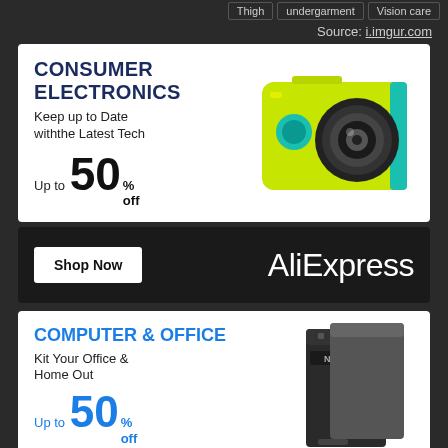Thigh | undergarment | Vision care
Source: i.imgur.com
[Figure (screenshot): AliExpress Consumer Electronics ad showing a yellow action camera, bold heading CONSUMER ELECTRONICS, text Keep up to Date withthe Latest Tech, Up to 50% off, Shop Now button, and AliExpress logo]
[Figure (screenshot): AliExpress Computer & Office ad showing dark storage drives/Netac device, heading COMPUTER & OFFICE in blue, text Kit Your Office & Home Out, Up to 50% off in blue]